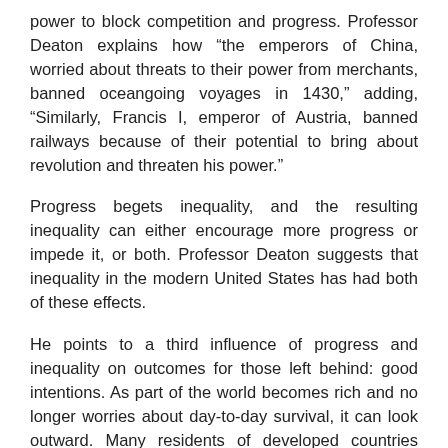power to block competition and progress. Professor Deaton explains how “the emperors of China, worried about threats to their power from merchants, banned oceangoing voyages in 1430,” adding, “Similarly, Francis I, emperor of Austria, banned railways because of their potential to bring about revolution and threaten his power.”
Progress begets inequality, and the resulting inequality can either encourage more progress or impede it, or both. Professor Deaton suggests that inequality in the modern United States has had both of these effects.
He points to a third influence of progress and inequality on outcomes for those left behind: good intentions. As part of the world becomes rich and no longer worries about day-to-day survival, it can look outward. Many residents of developed countries have a “need to help” those less fortunate.
But the attempts to help often – perhaps even usually – go awry.
As medical progress began to diffuse around the world